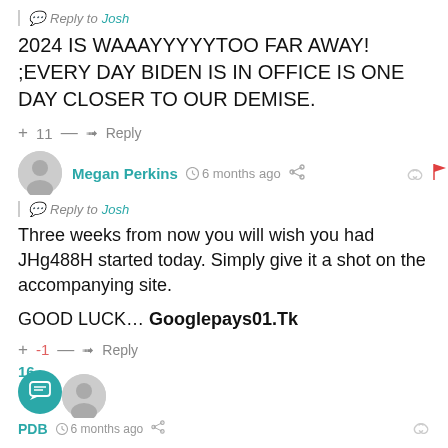Reply to Josh
2024 IS WAAAYYYYYOO FAR AWAY! ;EVERY DAY BIDEN IS IN OFFICE IS ONE DAY CLOSER TO OUR DEMISE.
+ 11 — → Reply
Megan Perkins  6 months ago
Reply to Josh
Three weeks from now you will wish you had JHg488H started today. Simply give it a shot on the accompanying site.
GOOD LUCK… Googlepays01.Tk
+ -1 — → Reply
16
PDB  6 months ago